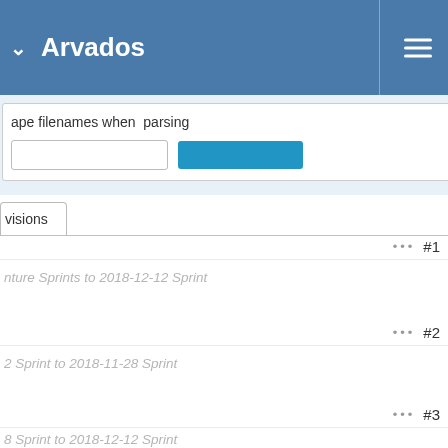Arvados
ape filenames when parsing
[Figure (screenshot): Form card with text input and blue button]
visions (tab)
... #1
nture Sprints to 2018-12-12 Sprint
... #2
2 Sprint to 2018-11-28 Sprint
... #3
8 Sprint to 2018-12-12 Sprint